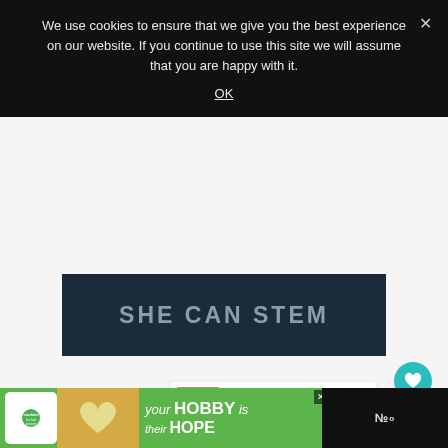We use cookies to ensure that we give you the best experience on our website. If you continue to use this site we will assume that you are happy with it.
OK
[Figure (logo): SHE CAN STEM banner logo on dark navy background with light gray text]
[Figure (screenshot): Heart/like button (teal circle), count of 1, and share button on right side of page]
WHAT'S NEXT → What Tools are there for...
[Figure (infographic): Bottom advertisement banner: cookies for kid cancer - your HOBBY is their HOPE]